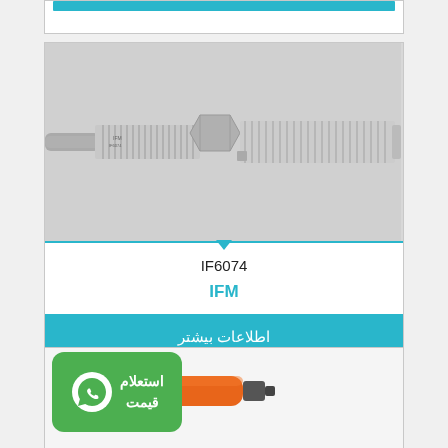[Figure (photo): Top portion of a product card with cyan/teal button, partially visible at top of page]
[Figure (photo): Stainless steel cylindrical inductive proximity sensor with threaded body and hex nut, cable emerging from left side]
IF6074
IFM
اطلاعات بیشتر
[Figure (photo): WhatsApp inquiry badge (green background with WhatsApp icon and Persian text استعلام قیمت) overlaying bottom product card]
[Figure (photo): Partial view of an orange-bodied sensor/probe on white background, bottom of page]